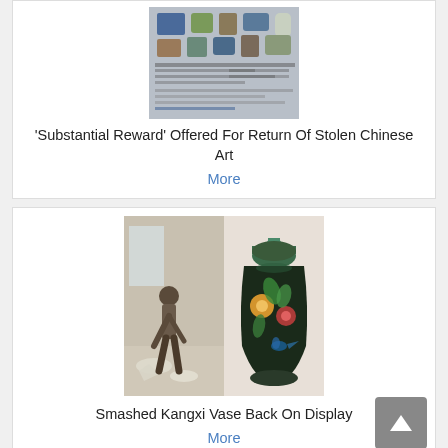[Figure (photo): A flyer or poster showing multiple Chinese art objects including vases and pottery, with text details about stolen art.]
'Substantial Reward' Offered For Return Of Stolen Chinese Art
More
[Figure (photo): Left: A person bending over broken pieces on a floor. Right: A colorful Chinese Kangxi vase with floral and bird motifs.]
Smashed Kangxi Vase Back On Display
More